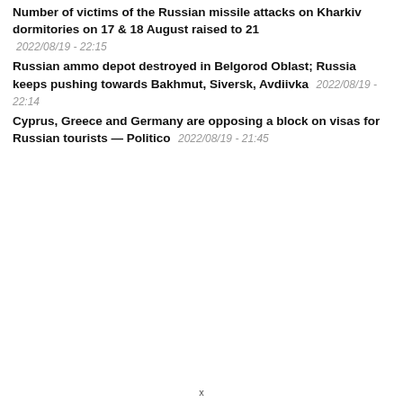Number of victims of the Russian missile attacks on Kharkiv dormitories on 17 & 18 August raised to 21  2022/08/19 - 22:15
Russian ammo depot destroyed in Belgorod Oblast; Russia keeps pushing towards Bakhmut, Siversk, Avdiivka  2022/08/19 - 22:14
Cyprus, Greece and Germany are opposing a block on visas for Russian tourists — Politico  2022/08/19 - 21:45
x